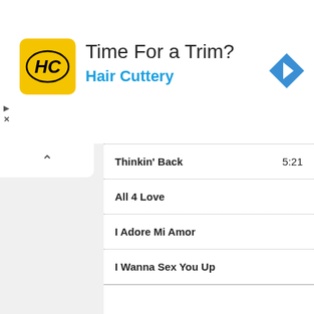[Figure (other): Hair Cuttery advertisement banner with yellow logo showing HC initials, text 'Time For a Trim?' and 'Hair Cuttery', and a blue navigation arrow icon]
Thinkin' Back 5:21
All 4 Love
I Adore Mi Amor
I Wanna Sex You Up
Share your thoughts on the Color Me Badd Band with the community:
0 Comments